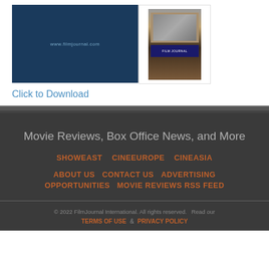[Figure (photo): Film Journal International magazine cover image - dark blue background with website URL www.filmjournal.com, alongside a smaller magazine cover showing a group photo]
Click to Download
Movie Reviews, Box Office News, and More
SHOWEAST    CINEEUROPE    CINEASIA
ABOUT US    CONTACT US    ADVERTISING OPPORTUNITIES    MOVIE REVIEWS RSS FEED
© 2022 FilmJournal International. All rights reserved.   Read our TERMS OF USE  &  PRIVACY POLICY